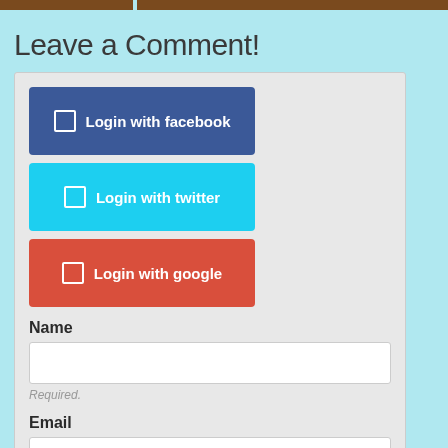Leave a Comment!
Login with facebook
Login with twitter
Login with google
Name
Required.
Email
Required, won't be published.
Website